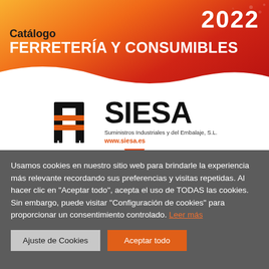2022
Catálogo
FERRETERÍA Y CONSUMIBLES
[Figure (logo): SIESA logo — stylized M/building icon in black with orange horizontal bars, followed by large bold text SIESA, subtitle Suministros Industriales y del Embalaje, S.L., and URL www.siesa.es in orange]
Usamos cookies en nuestro sitio web para brindarle la experiencia más relevante recordando sus preferencias y visitas repetidas. Al hacer clic en "Aceptar todo", acepta el uso de TODAS las cookies. Sin embargo, puede visitar "Configuración de cookies" para proporcionar un consentimiento controlado. Leer más
Ajuste de Cookies
Aceptar todo